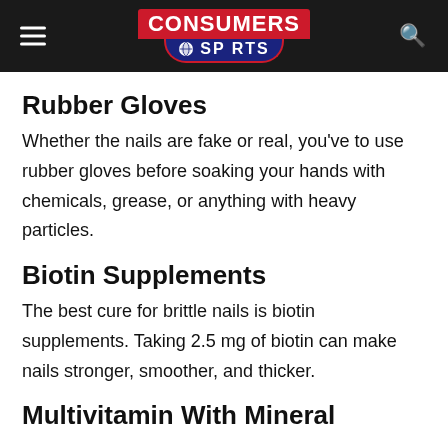CONSUMERS SPORTS
Rubber Gloves
Whether the nails are fake or real, you've to use rubber gloves before soaking your hands with chemicals, grease, or anything with heavy particles.
Biotin Supplements
The best cure for brittle nails is biotin supplements. Taking 2.5 mg of biotin can make nails stronger, smoother, and thicker.
Multivitamin With Mineral